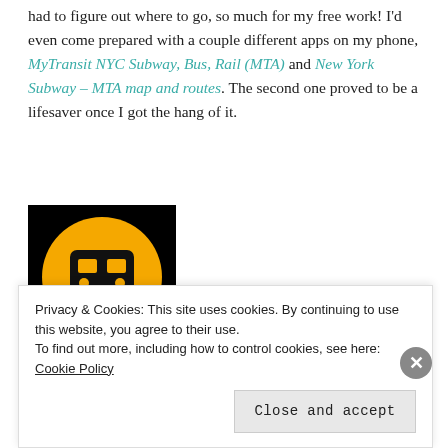had to figure out where to go, so much for my free work! I'd even come prepared with a couple different apps on my phone, MyTransit NYC Subway, Bus, Rail (MTA) and New York Subway – MTA map and routes. The second one proved to be a lifesaver once I got the hang of it.
[Figure (logo): NYC Subway app icon: black background with a large yellow circle containing a black subway train symbol, and three circles at the bottom labeled N (yellow), Y (blue), C (orange)]
Privacy & Cookies: This site uses cookies. By continuing to use this website, you agree to their use. To find out more, including how to control cookies, see here: Cookie Policy
Close and accept